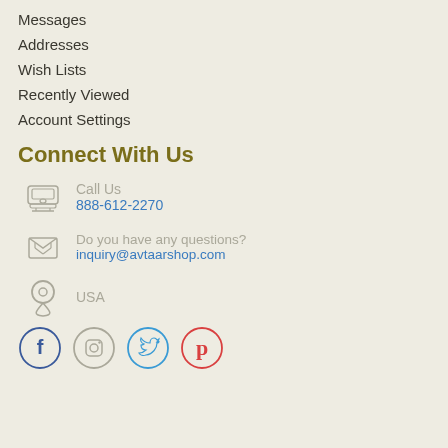Messages
Addresses
Wish Lists
Recently Viewed
Account Settings
Connect With Us
Call Us
888-612-2270
Do you have any questions?
inquiry@avtaarshop.com
USA
[Figure (illustration): Social media icons: Facebook, Instagram, Twitter, Pinterest]